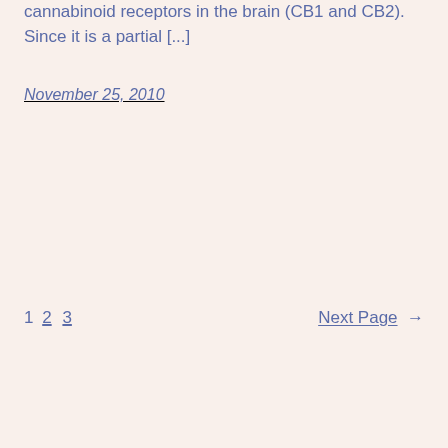cannabinoid receptors in the brain (CB1 and CB2). Since it is a partial [...]
November 25, 2010
1 2 3   Next Page →